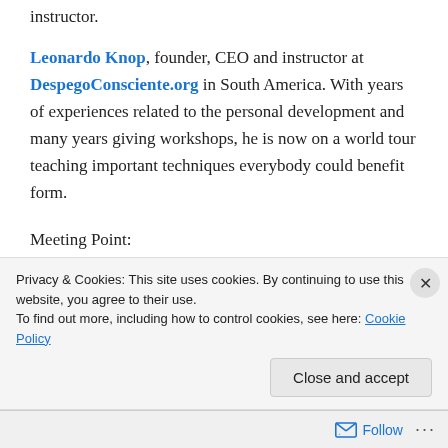instructor.
Leonardo Knop, founder, CEO and instructor at DespegoConsciente.org in South America. With years of experiences related to the personal development and many years giving workshops, he is now on a world tour teaching important techniques everybody could benefit form.
Meeting Point:
Petro Canada gas station, 4505 Ave du Parc, Montréal, Quebec H2V 4E4. I'll meet you just at the corner of the
Privacy & Cookies: This site uses cookies. By continuing to use this website, you agree to their use.
To find out more, including how to control cookies, see here: Cookie Policy
Close and accept
Follow